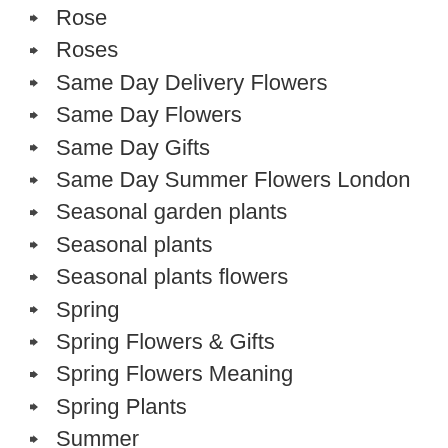Rose
Roses
Same Day Delivery Flowers
Same Day Flowers
Same Day Gifts
Same Day Summer Flowers London
Seasonal garden plants
Seasonal plants
Seasonal plants flowers
Spring
Spring Flowers & Gifts
Spring Flowers Meaning
Spring Plants
Summer
Summer Bouquets
Summer Flower Arrangements
Summer flower bouquets